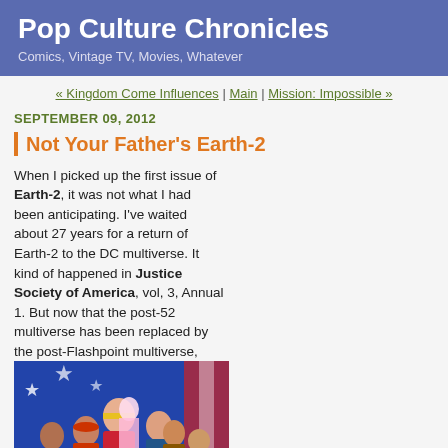Pop Culture Chronicles
Comics, Vintage TV, Movies, Whatever
« Kingdom Come Influences | Main | Mission: Impossible »
SEPTEMBER 09, 2012
Not Your Father's Earth-2
When I picked up the first issue of Earth-2, it was not what I had been anticipating. I've waited about 27 years for a return of Earth-2 to the DC multiverse. It kind of happened in Justice Society of America, vol, 3, Annual 1. But now that the post-52 multiverse has been replaced by the post-Flashpoint multiverse, Earth-2 is no longer recognizable. I h for an Earth-2 with a similar backstory to the one I had read
[Figure (illustration): Comic book group illustration showing superhero characters from Earth-2 / Justice Society of America, with Wonder Woman, Green Lantern, Flash, Hawkman, and other DC superheroes grouped together against a flag backdrop]